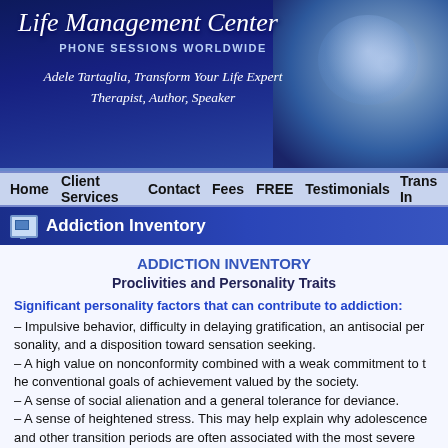[Figure (illustration): Life Management Center website banner with italic script title, 'PHONE SESSIONS WORLDWIDE' subtitle, author credit 'Adele Tartaglia, Transform Your Life Expert, Therapist, Author, Speaker', and a blue-toned brain/globe graphic on right side]
Home   Client Services   Contact   Fees   FREE   Testimonials   Trans In
Addiction Inventory
ADDICTION INVENTORY
Proclivities and Personality Traits
Significant personality factors that can contribute to addiction:
– Impulsive behavior, difficulty in delaying gratification, an antisocial per... disposition toward sensation seeking.
– A high value on nonconformity combined with a weak commitment to t... achievement valued by the society.
– A sense of social alienation and a general tolerance for deviance.
– A sense of heightened stress. This may help explain why adolescence... transition periods are often associated with the most severe drug and al...
Mark All that Relate to You
Substitute drugs for God in your life